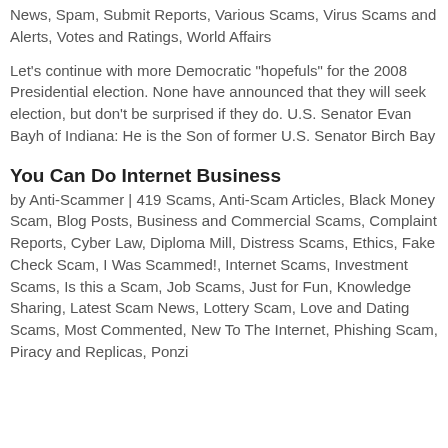News, Spam, Submit Reports, Various Scams, Virus Scams and Alerts, Votes and Ratings, World Affairs
Let's continue with more Democratic "hopefuls" for the 2008 Presidential election. None have announced that they will seek election, but don't be surprised if they do. U.S. Senator Evan Bayh of Indiana: He is the Son of former U.S. Senator Birch Bay
You Can Do Internet Business
by Anti-Scammer | 419 Scams, Anti-Scam Articles, Black Money Scam, Blog Posts, Business and Commercial Scams, Complaint Reports, Cyber Law, Diploma Mill, Distress Scams, Ethics, Fake Check Scam, I Was Scammed!, Internet Scams, Investment Scams, Is this a Scam, Job Scams, Just for Fun, Knowledge Sharing, Latest Scam News, Lottery Scam, Love and Dating Scams, Most Commented, New To The Internet, Phishing Scam, Piracy and Replicas, Ponzi